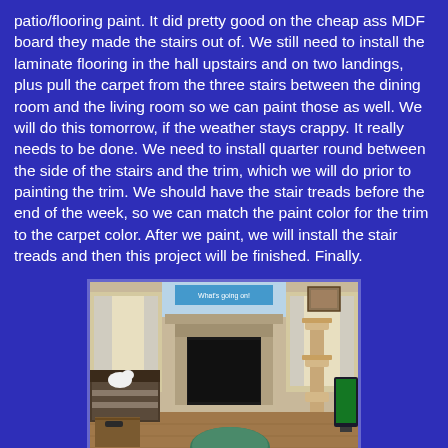patio/flooring paint. It did pretty good on the cheap ass MDF board they made the stairs out of. We still need to install the laminate flooring in the hall upstairs and on two landings, plus pull the carpet from the three stairs between the dining room and the living room so we can paint those as well. We will do this tomorrow, if the weather stays crappy. It really needs to be done. We need to install quarter round between the side of the stairs and the trim, which we will do prior to painting the trim. We should have the stair treads before the end of the week, so we can match the paint color for the trim to the carpet color. After we paint, we will install the stair treads and then this project will be finished. Finally.
[Figure (photo): Interior living room photo showing a fireplace in the center, curtained windows on both sides, a cat tree on the right, a TV on the right edge, a sofa/chair with striped cushions on the left, a coffee table, and a round ottoman in the foreground. The room appears to have wood/laminate flooring.]